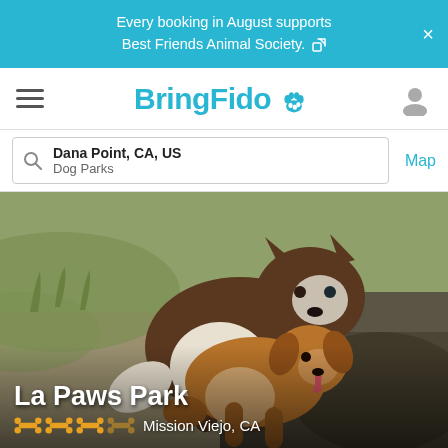Every booking in August supports Best Friends Animal Society.
[Figure (logo): BringFido logo with paw print icon in teal/cyan color]
Dana Point, CA, US
Dog Parks
Map
[Figure (photo): Two dogs playing together at a dog park — a large husky/malamute mix and a smaller golden/sable colored dog, outdoors on sandy/grassy ground]
La Paws Park
Mission Viejo, CA